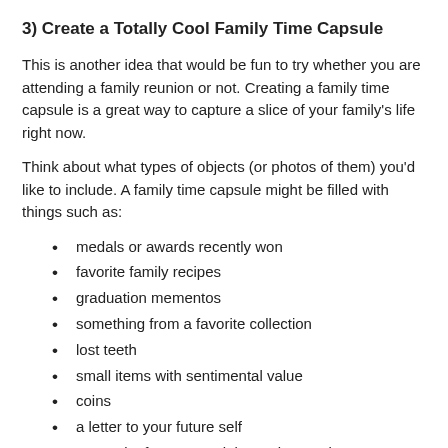3) Create a Totally Cool Family Time Capsule
This is another idea that would be fun to try whether you are attending a family reunion or not. Creating a family time capsule is a great way to capture a slice of your family's life right now.
Think about what types of objects (or photos of them) you'd like to include. A family time capsule might be filled with things such as:
medals or awards recently won
favorite family recipes
graduation mementos
something from a favorite collection
lost teeth
small items with sentimental value
coins
a letter to your future self
souvenirs from a special vacation or trip